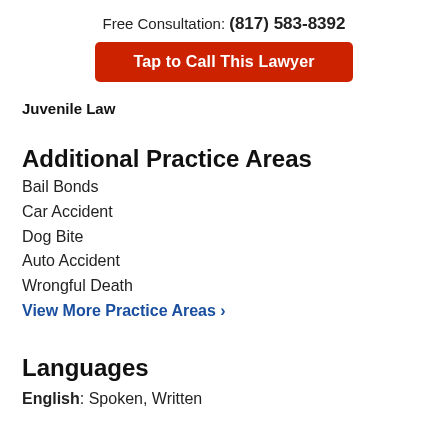Free Consultation: (817) 583-8392
Tap to Call This Lawyer
Juvenile Law
Additional Practice Areas
Bail Bonds
Car Accident
Dog Bite
Auto Accident
Wrongful Death
View More Practice Areas ›
Languages
English: Spoken, Written